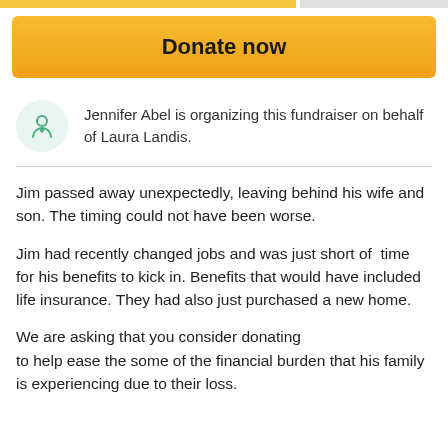[Figure (other): Orange/amber progress bar at top of page]
Donate now
Jennifer Abel is organizing this fundraiser on behalf of Laura Landis.
Jim passed away unexpectedly, leaving behind his wife and son. The timing could not have been worse.
Jim had recently changed jobs and was just short of time for his benefits to kick in. Benefits that would have included life insurance. They had also just purchased a new home.
We are asking that you consider donating to help ease the some of the financial burden that his family is experiencing due to their loss.